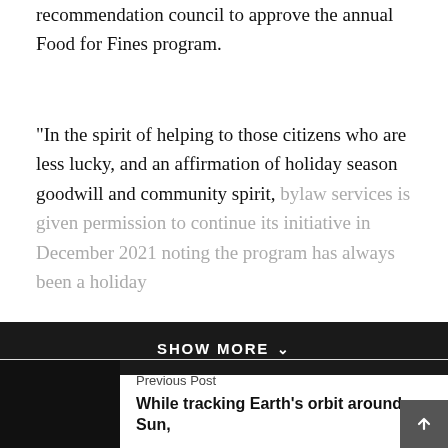recommendation council to approve the annual Food for Fines program.
“In the spirit of helping to those citizens who are less lucky, and an affirmation of holiday season goodwill and community spirit, bylaw services is given permission to continue its initiative in December 2021 noting the program has always been a holiday
[Figure (other): SHOW MORE button with chevron down arrow]
Previous Post
While tracking Earth’s orbit around Sun,